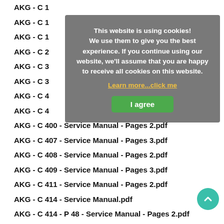AKG - C 1...
AKG - C 1...
AKG - C 1...
AKG - C 2...
AKG - C 3...
AKG - C 3...
AKG - C 4...
AKG - C 4...
AKG - C 400 - Service Manual - Pages 2.pdf
AKG - C 407 - Service Manual - Pages 3.pdf
AKG - C 408 - Service Manual - Pages 2.pdf
AKG - C 409 - Service Manual - Pages 3.pdf
AKG - C 411 - Service Manual - Pages 2.pdf
AKG - C 414  - Service Manual.pdf
AKG - C 414 - P 48 - Service Manual - Pages 2.pdf
AKG - C 414 - Service Manual - Pages 2.pdf
AKG - C 414 B - TL - Service Manual - Pages 9.pdf
AKG - C 414 B - ULS - Service Manual - Pages 9.pdf
[Figure (screenshot): Cookie consent overlay with message 'This website is using cookies! We use them to give you the best experience. If you continue using our website, we'll assume that you are happy to receive all cookies on this website.' with a 'Learn more...click me' link and 'I agree' button.]